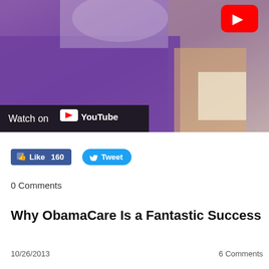[Figure (screenshot): YouTube video thumbnail showing a person in a purple polo shirt holding something, with a red YouTube play button in the top right corner and a 'Watch on YouTube' bar at the bottom left.]
👍 Like 160   🐦 Tweet
0 Comments
Why ObamaCare Is a Fantastic Success
10/26/2013   6 Comments